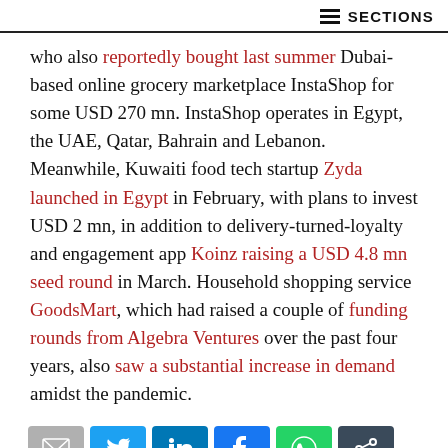≡ SECTIONS
who also reportedly bought last summer Dubai-based online grocery marketplace InstaShop for some USD 270 mn. InstaShop operates in Egypt, the UAE, Qatar, Bahrain and Lebanon. Meanwhile, Kuwaiti food tech startup Zyda launched in Egypt in February, with plans to invest USD 2 mn, in addition to delivery-turned-loyalty and engagement app Koinz raising a USD 4.8 mn seed round in March. Household shopping service GoodsMart, which had raised a couple of funding rounds from Algebra Ventures over the past four years, also saw a substantial increase in demand amidst the pandemic.
[Figure (other): Social sharing icons row: email (grey), Twitter (blue), LinkedIn (blue), Facebook (blue), WhatsApp (green), share/link (dark grey)]